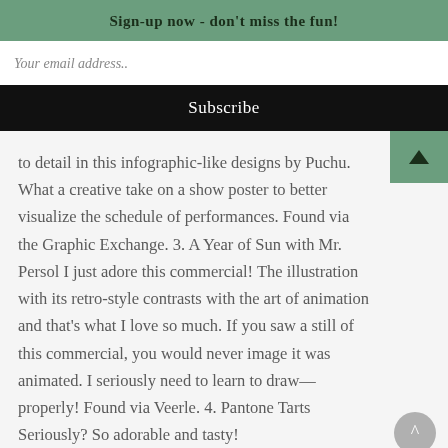Sign-up now - don't miss the fun!
Your email address..
Subscribe
to detail in this infographic-like designs by Puchu. What a creative take on a show poster to better visualize the schedule of performances. Found via the Graphic Exchange. 3. A Year of Sun with Mr. Persol I just adore this commercial! The illustration with its retro-style contrasts with the art of animation and that's what I love so much. If you saw a still of this commercial, you would never image it was animated. I seriously need to learn to draw—properly! Found via Veerle. 4. Pantone Tarts Seriously? So adorable and tasty!